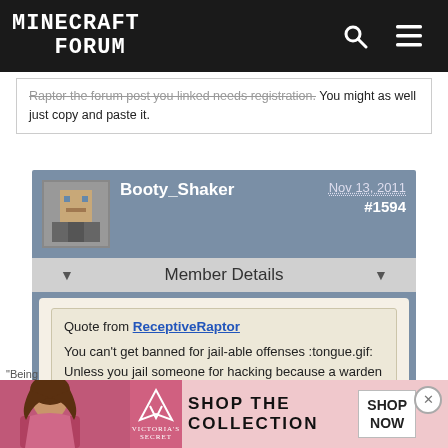Minecraft Forum
Raptor the forum post you linked needs registration. You might as well just copy and paste it.
Booty_Shaker — Nov 13, 2011 — #1594
Member Details
Quote from ReceptiveRaptor

You can't get banned for jail-able offenses :tongue.gif: Unless you jail someone for hacking because a warden isn't around.
"Being